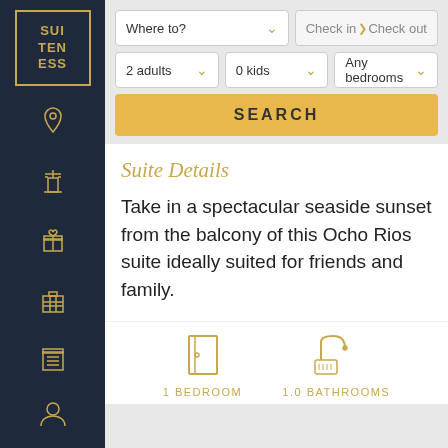[Figure (logo): Suiteness logo in gold on dark navy sidebar]
[Figure (screenshot): Search form with Where to, Check in, Check out fields, 2 adults, 0 kids, Any bedrooms dropdowns, and SEARCH button]
Suite Details
Take in a spectacular seaside sunset from the balcony of this Ocho Rios suite ideally suited for friends and family.
[Figure (infographic): 1 BEDROOM icon and 1.0 BATHROOMS icon in gold]
1 BEDROOM
1.0 BATHROOMS